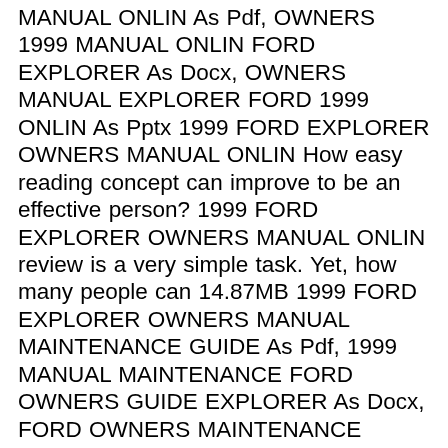MANUAL ONLIN As Pdf, OWNERS 1999 MANUAL ONLIN FORD EXPLORER As Docx, OWNERS MANUAL EXPLORER FORD 1999 ONLIN As Pptx 1999 FORD EXPLORER OWNERS MANUAL ONLIN How easy reading concept can improve to be an effective person? 1999 FORD EXPLORER OWNERS MANUAL ONLIN review is a very simple task. Yet, how many people can 14.87MB 1999 FORD EXPLORER OWNERS MANUAL MAINTENANCE GUIDE As Pdf, 1999 MANUAL MAINTENANCE FORD OWNERS GUIDE EXPLORER As Docx, FORD OWNERS MAINTENANCE EXPLORER 1999 GUIDE MANUAL As Pptx 1999 FORD EXPLORER OWNERS MANUAL MAINTENANCE GUIDE How easy reading